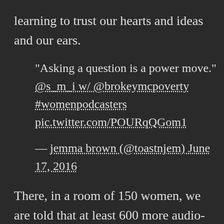learning to trust our hearts and ideas and our ears.
"Asking a question is a power move." @s_m_i w/ @brokeymcpoverty #womenpodcasters pic.twitter.com/POURqQGom1

— jemma brown (@toastnjem) June 17, 2016
There, in a room of 150 women, we are told that at least 600 more audio-makers could've joined us, that the applications submitted for